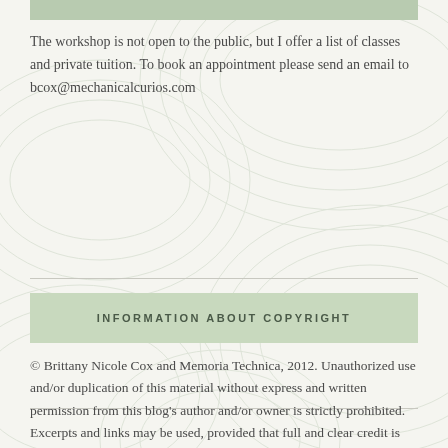The workshop is not open to the public, but I offer a list of classes and private tuition. To book an appointment please send an email to bcox@mechanicalcurios.com
INFORMATION ABOUT COPYRIGHT
© Brittany Nicole Cox and Memoria Technica, 2012. Unauthorized use and/or duplication of this material without express and written permission from this blog's author and/or owner is strictly prohibited. Excerpts and links may be used, provided that full and clear credit is given to Brittany Nicole Cox and www.mechanicalcurios.com with appropriate and specific direction to the original content with a link.